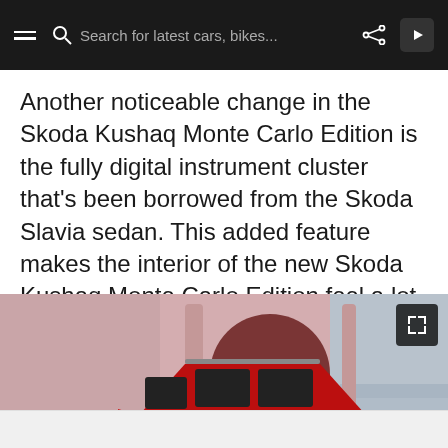Search for latest cars, bikes...
Another noticeable change in the Skoda Kushaq Monte Carlo Edition is the fully digital instrument cluster that's been borrowed from the Skoda Slavia sedan. This added feature makes the interior of the new Skoda Kushaq Monte Carlo Edition feel a lot more sophisticated.
[Figure (photo): Red Skoda Kushaq Monte Carlo Edition SUV photographed from the side against a pink/mauve architectural background with arched doorway and steps]